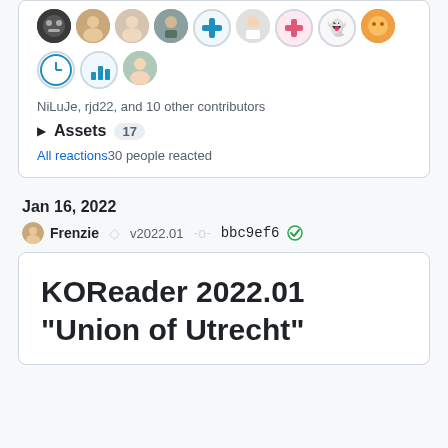[Figure (illustration): Row of circular avatar icons showing contributors]
NiLuJe, rjd22, and 10 other contributors
▶ Assets  17
All reactions 30 people reacted
Jan 16, 2022
Frenzie   v2022.01   bbc9ef6 ✅
KOReader 2022.01 "Union of Utrecht"